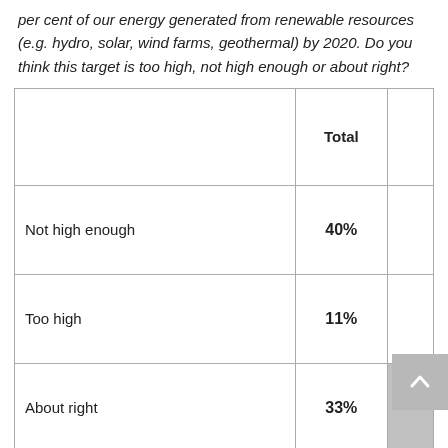per cent of our energy generated from renewable resources (e.g. hydro, solar, wind farms, geothermal) by 2020. Do you think this target is too high, not high enough or about right?
|  | Total |  |
| --- | --- | --- |
| Not high enough | 40% |  |
| Too high | 11% |  |
| About right | 33% |  |
| Don't know |  |  |